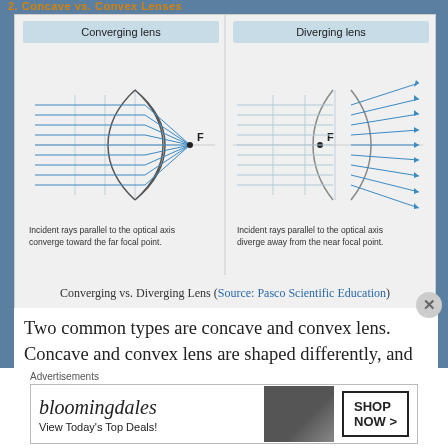[Figure (engineering-diagram): Two-panel optical diagram. Left panel: 'Converging lens' showing parallel light rays hitting a convex lens and converging at focal point F. Right panel: 'Diverging lens' showing parallel rays hitting a concave lens and diverging, appearing to come from focal point F.]
Converging vs. Diverging Lens (Source: Pasco Scientific Education)
Two common types are concave and convex lens. Concave and convex lens are shaped differently, and depending on where an object is placed in front of the lens, different images (varying sizes,
Advertisements
bloomingdales — View Today's Top Deals! — SHOP NOW >